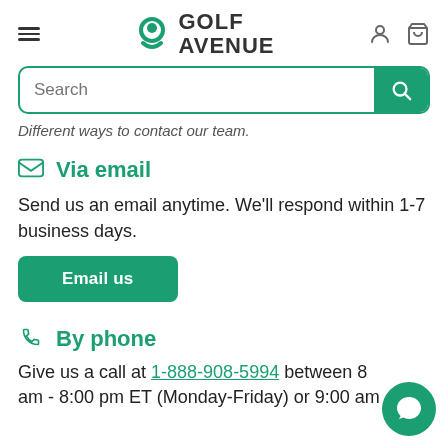Golf Avenue — navigation header with hamburger menu, logo, user icon, cart icon
Search
Different ways to contact our team.
Via email
Send us an email anytime. We'll respond within 1-7 business days.
Email us
By phone
Give us a call at 1-888-908-5994 between 8 am - 8:00 pm ET (Monday-Friday) or 9:00 am -